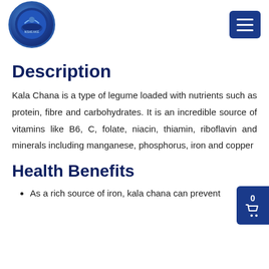[Logo] [Hamburger menu button]
Description
Kala Chana is a type of legume loaded with nutrients such as protein, fibre and carbohydrates. It is an incredible source of vitamins like B6, C, folate, niacin, thiamin, riboflavin and minerals including manganese, phosphorus, iron and copper
Health Benefits
As a rich source of iron, kala chana can prevent